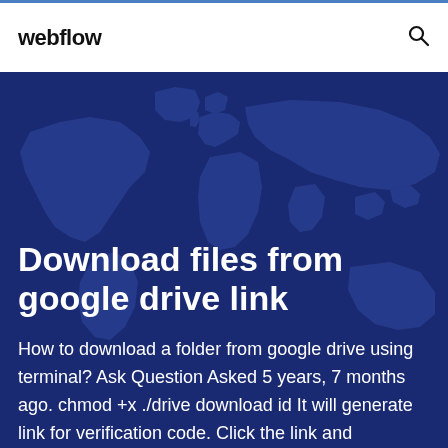webflow
Download files from google drive link
How to download a folder from google drive using terminal? Ask Question Asked 5 years, 7 months ago. chmod +x ./drive download id It will generate link for verification code. Click the link and